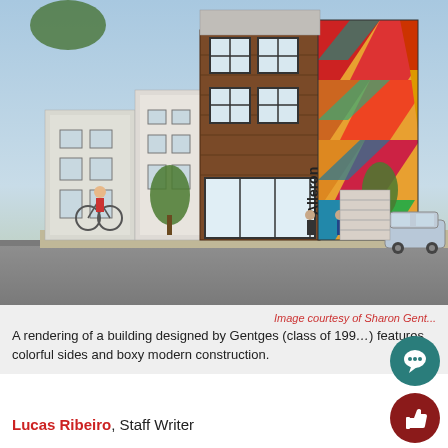[Figure (illustration): Architectural rendering of a modern multi-story mixed-use building called 'Alleron' featuring wood cladding, large windows, colorful geometric mural on the side wall in red, orange, yellow, green, blue geometric chevron pattern. Street level shows pedestrians, a cyclist, and a car. Trees line the sidewalk.]
Image courtesy of Sharon Gent
A rendering of a building designed by Gentges (class of 199...) features colorful sides and boxy modern construction.
Lucas Ribeiro, Staff Writer